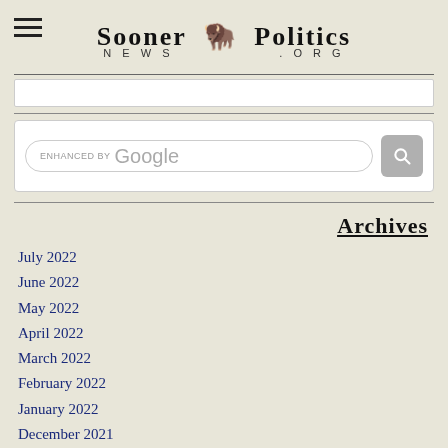Sooner Politics News .org
[Figure (screenshot): Google enhanced search bar with search icon button]
Archives
July 2022
June 2022
May 2022
April 2022
March 2022
February 2022
January 2022
December 2021
November 2021